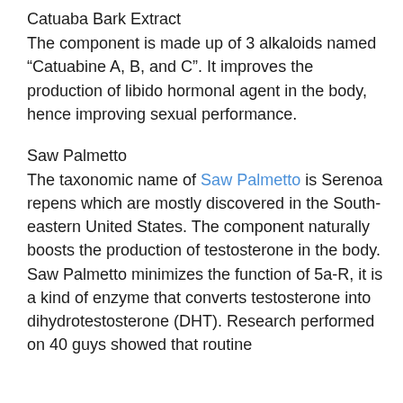Catuaba Bark Extract
The component is made up of 3 alkaloids named “Catuabine A, B, and C”. It improves the production of libido hormonal agent in the body, hence improving sexual performance.
Saw Palmetto
The taxonomic name of Saw Palmetto is Serenoa repens which are mostly discovered in the South-eastern United States. The component naturally boosts the production of testosterone in the body. Saw Palmetto minimizes the function of 5a-R, it is a kind of enzyme that converts testosterone into dihydrotestosterone (DHT). Research performed on 40 guys showed that routine